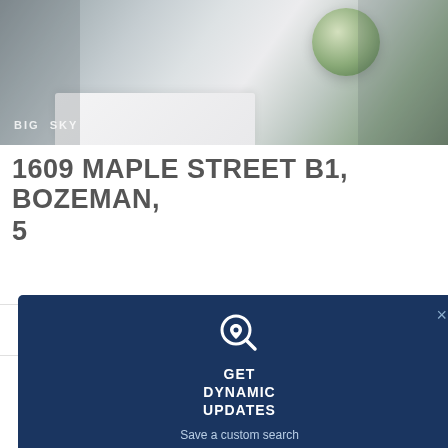[Figure (photo): Kitchen interior photo showing gray cabinets, white marble countertop, stainless steel appliances, and a plant in a white pot. Big Sky logo visible in lower left.]
1609 MAPLE STREET B1, BOZEMAN,
5
2 Bathroom(s)
$499,500
[Figure (infographic): Dark navy popup box with search/location icon, titled GET DYNAMIC UPDATES, with body text: Save a custom search on this page & I'll email you instantly when a new listing matches the criteria. Close button (x) in top right corner.]